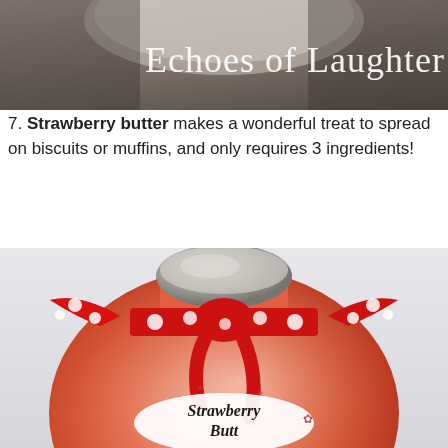[Figure (photo): Top portion of a jar/container with blurred background and 'Echoes of Laughter' text overlay in white serif font]
7. Strawberry butter makes a wonderful treat to spread on biscuits or muffins, and only requires 3 ingredients!
[Figure (photo): Close-up photo of a round glass jar filled with pink/red strawberry butter, topped with a silver lid and decorated with a red polka-dot ribbon bow, featuring an oval label reading 'Strawberry Butter']